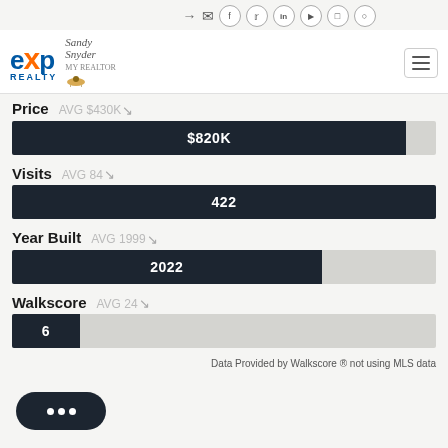[Figure (logo): eXp Realty logo with Sandy Snyder Realtor branding, social media icons, and hamburger menu]
Price
AVG $430K
[Figure (bar-chart): Price]
Visits
AVG 84
[Figure (bar-chart): Visits]
Year Built
AVG 1999
[Figure (bar-chart): Year Built]
Walkscore
AVG 24
[Figure (bar-chart): Walkscore]
Data Provided by Walkscore ® not using MLS data